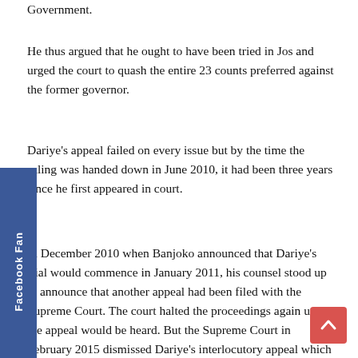Government.
He thus argued that he ought to have been tried in Jos and urged the court to quash the entire 23 counts preferred against the former governor.
Dariye's appeal failed on every issue but by the time the ruling was handed down in June 2010, it had been three years since he first appeared in court.
In December 2010 when Banjoko announced that Dariye's trial would commence in January 2011, his counsel stood up to announce that another appeal had been filed with the Supreme Court. The court halted the proceedings again until the appeal would be heard. But the Supreme Court in February 2015 dismissed Dariye's interlocutory appeal which had stalled his trial since 2007.